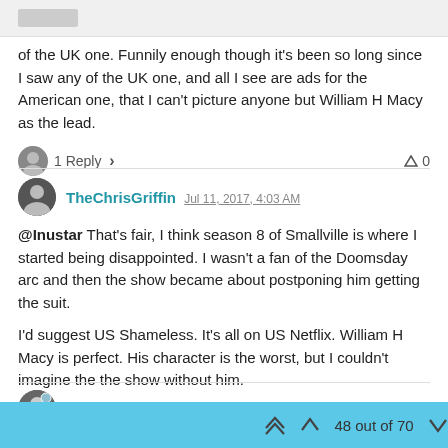of the UK one. Funnily enough though it's been so long since I saw any of the UK one, and all I see are ads for the American one, that I can't picture anyone but William H Macy as the lead.
1 Reply  ›   0
TheChrisGriffin  Jul 11, 2017, 4:03 AM
@Inustar That's fair, I think season 8 of Smallville is where I started being disappointed. I wasn't a fan of the Doomsday arc and then the show became about postponing him getting the suit.

I'd suggest US Shameless. It's all on US Netflix. William H Macy is perfect. His character is the worst, but I couldn't imagine the the show without him.
1 Reply  ›   0
Inustar  Jul 11, 2017, 4:37 AM
48 out of 70